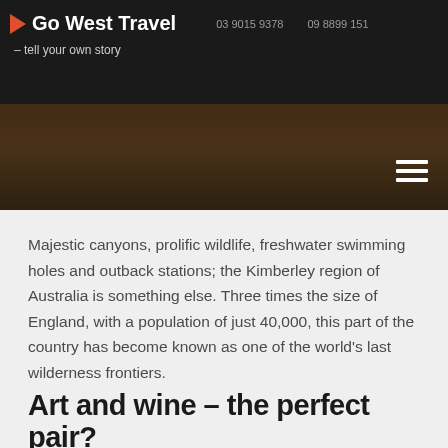Go West Travel  03 9015 9378  09 8899 151  – tell your own story
[Figure (photo): Dark landscape/outback hero image with hamburger menu icon overlay]
Majestic canyons, prolific wildlife, freshwater swimming holes and outback stations; the Kimberley region of Australia is something else. Three times the size of England, with a population of just 40,000, this part of the country has become known as one of the world's last wilderness frontiers.
read more ›
Art and wine – the perfect pair?
February 2, 2021